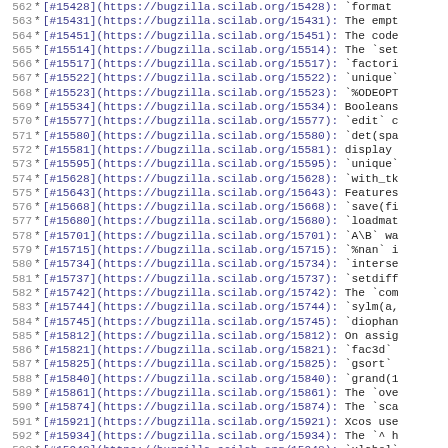562 * [#15428](https://bugzilla.scilab.org/15428): `format
563 * [#15431](https://bugzilla.scilab.org/15431): The empt
564 * [#15451](https://bugzilla.scilab.org/15451): The code
565 * [#15514](https://bugzilla.scilab.org/15514): The `set
566 * [#15517](https://bugzilla.scilab.org/15517): `factori
567 * [#15522](https://bugzilla.scilab.org/15522): `unique`
568 * [#15523](https://bugzilla.scilab.org/15523): `%ODEOPT
569 * [#15534](https://bugzilla.scilab.org/15534): Booleans
570 * [#15577](https://bugzilla.scilab.org/15577): `edit` c
571 * [#15580](https://bugzilla.scilab.org/15580): `det(spa
572 * [#15581](https://bugzilla.scilab.org/15581): display
573 * [#15595](https://bugzilla.scilab.org/15595): `unique`
574 * [#15628](https://bugzilla.scilab.org/15628): `with_tk
575 * [#15643](https://bugzilla.scilab.org/15643): Features
576 * [#15668](https://bugzilla.scilab.org/15668): `save(fi
577 * [#15680](https://bugzilla.scilab.org/15680): `loadmat
578 * [#15701](https://bugzilla.scilab.org/15701): `A\B` wa
579 * [#15715](https://bugzilla.scilab.org/15715): `%nan` i
580 * [#15734](https://bugzilla.scilab.org/15734): `interse
581 * [#15737](https://bugzilla.scilab.org/15737): `setdiff
582 * [#15742](https://bugzilla.scilab.org/15742): The `com
583 * [#15744](https://bugzilla.scilab.org/15744): `sylm(a,
584 * [#15745](https://bugzilla.scilab.org/15745): `diophan
585 * [#15812](https://bugzilla.scilab.org/15812): On assig
586 * [#15821](https://bugzilla.scilab.org/15821): `fac3d`
587 * [#15825](https://bugzilla.scilab.org/15825): `gsort`
588 * [#15840](https://bugzilla.scilab.org/15840): `grand(1
589 * [#15861](https://bugzilla.scilab.org/15861): The `ove
590 * [#15874](https://bugzilla.scilab.org/15874): The `sca
591 * [#15921](https://bugzilla.scilab.org/15921): Xcos use
592 * [#15934](https://bugzilla.scilab.org/15934): The `^ h
593 * [#15948](https://bugzilla.scilab.org/15948): `xlabel`
594 * [#15962](https://bugzilla.scilab.org/15962): The